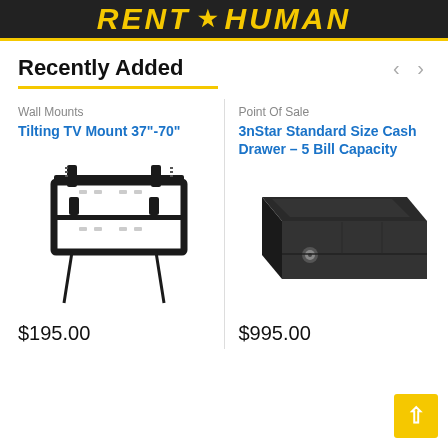RENT ★ HUMAN
Recently Added
Wall Mounts
Tilting TV Mount 37"-70"
[Figure (photo): Black tilting TV wall mount bracket for 37 to 70 inch TVs, showing the bracket frame with mounting hardware]
$195.00
Point Of Sale
3nStar Standard Size Cash Drawer – 5 Bill Capacity
[Figure (photo): Black cash drawer box with a lock/key mechanism on the front, showing the top and front face]
$995.00